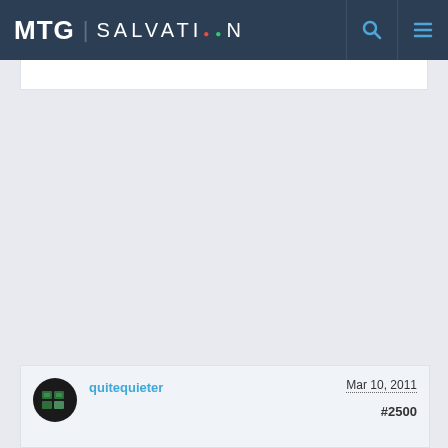MTG | SALVATION
[Figure (screenshot): Blank white card area at top of page content]
[Figure (screenshot): Forum post card showing user avatar, username 'quitequieter', date 'Mar 10, 2011', and post number '#2500']
[Figure (photo): Advertisement banner: 'KISS BORING LIPS GOODBYE' with 'SHOP NOW' button and macy's logo]